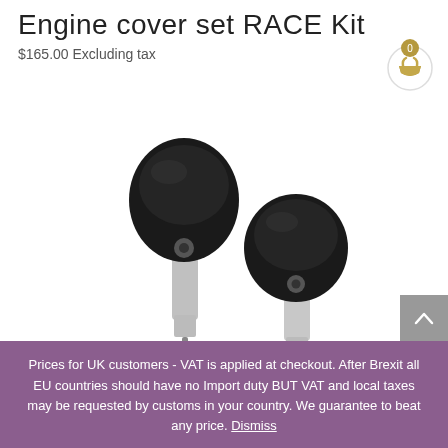Engine cover set RACE Kit
$165.00 Excluding tax
[Figure (photo): Two black engine cover set RACE kit components mounted on silver cylindrical stalks, photographed against a white background. The parts have rounded black caps on top.]
Prices for UK customers - VAT is applied at checkout. After Brexit all EU countries should have no Import duty BUT VAT and local taxes may be requested by customs in your country. We guarantee to beat any price. Dismiss